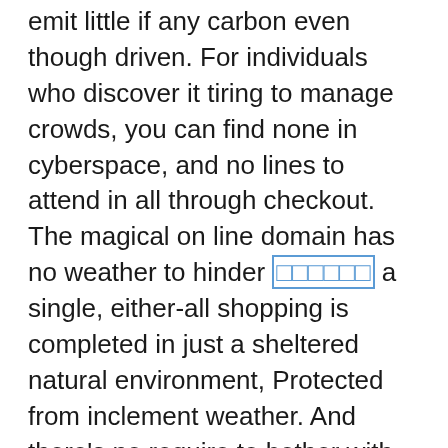emit little if any carbon even though driven. For individuals who discover it tiring to manage crowds, you can find none in cyberspace, and no lines to attend in all through checkout. The magical on line domain has no weather to hinder [link] a single, either-all shopping is completed in just a sheltered natural environment, Protected from inclement weather. And there's no require to bother with retaining a single's small children collectively As well as in sight when shopping online. But perhaps the very best function of all is the cost discounts that could be realized on the web. On line items can a lot more often that not be bought and shipped for considerably significantly less, as the cost doesn't consist of any overhead expenditures linked to